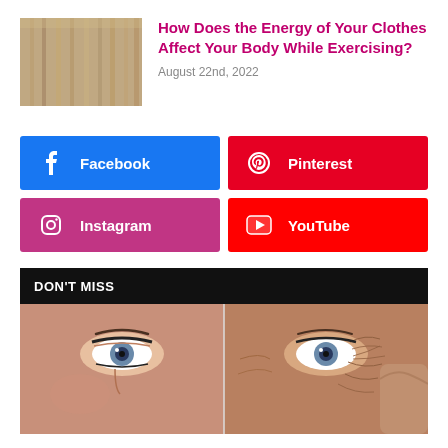[Figure (photo): Thumbnail photo of hanging clothes in warm tones]
How Does the Energy of Your Clothes Affect Your Body While Exercising?
August 22nd, 2022
[Figure (infographic): Social media buttons: Facebook (blue), Pinterest (red), Instagram (pink/purple), YouTube (red)]
DON'T MISS
[Figure (photo): Side-by-side comparison of two women's faces closeup showing eyes, one younger and one older with wrinkles]